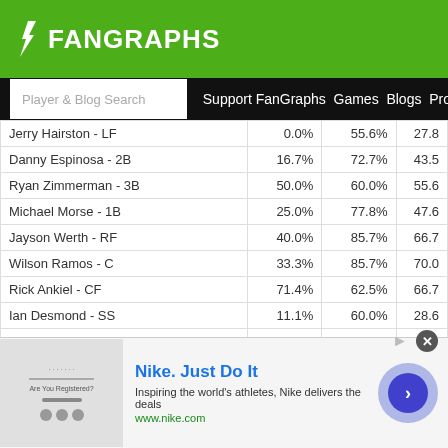FanGraphs
Player & Blog Search | Support FanGraphs Games Blogs Projections
| Player | Col1 | Col2 | Col3 |
| --- | --- | --- | --- |
| Jerry Hairston - LF | 0.0% | 55.6% | 27.8 |
| Danny Espinosa - 2B | 16.7% | 72.7% | 43.5 |
| Ryan Zimmerman - 3B | 50.0% | 60.0% | 55.6 |
| Michael Morse - 1B | 25.0% | 77.8% | 47.6 |
| Jayson Werth - RF | 40.0% | 85.7% | 66.7 |
| Wilson Ramos - C | 33.3% | 85.7% | 70.0 |
| Rick Ankiel - CF | 71.4% | 62.5% | 66.7 |
| Ian Desmond - SS | 11.1% | 60.0% | 28.6 |
| Tom Gorzelanny - P | 100.0% | 50.0% | 75.0 |
| Ross Detwiler - P | 50.0% | 100.0% | 60.0 |
| Roger Bernadina - CF | 0.0% | 100.0% | 50.0 |
[Figure (other): Nike advertisement banner: Nike. Just Do It. Inspiring the world's athletes, Nike delivers the deals. www.nike.com]